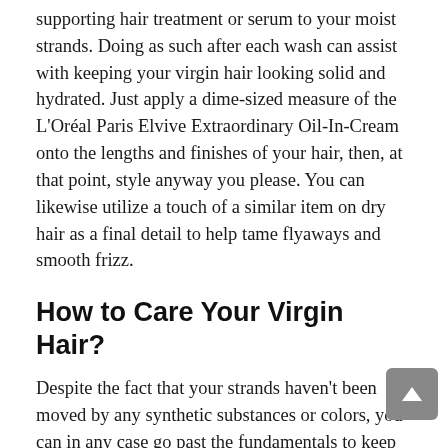supporting hair treatment or serum to your moist strands. Doing as such after each wash can assist with keeping your virgin hair looking solid and hydrated. Just apply a dime-sized measure of the L'Oréal Paris Elvive Extraordinary Oil-In-Cream onto the lengths and finishes of your hair, then, at that point, style anyway you please. You can likewise utilize a touch of a similar item on dry hair as a final detail to help tame flyaways and smooth frizz.
How to Care Your Virgin Hair?
Despite the fact that your strands haven't been moved by any synthetic substances or colors, you can in any case go past the fundamentals to keep your hair looking its best.